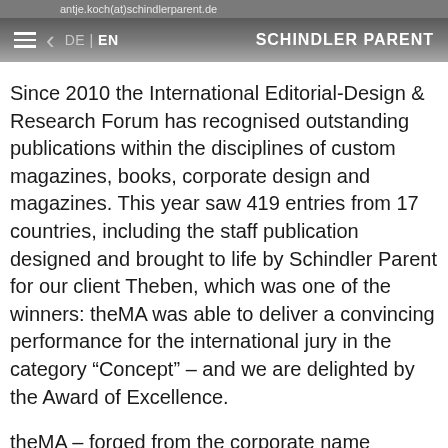antje.koch(at)schindlerparent.de DE | EN SCHINDLER PARENT
Since 2010 the International Editorial-Design & Research Forum has recognised outstanding publications within the disciplines of custom magazines, books, corporate design and magazines. This year saw 419 entries from 17 countries, including the staff publication designed and brought to life by Schindler Parent for our client Theben, which was one of the winners: theMA was able to deliver a convincing performance for the international jury in the category “Concept” – and we are delighted by the Award of Excellence.
theMA – forged from the corporate name building block “the” in “Theben”, and the German acronym MA (which stands for “Mitarbeiter” of “Member of staff”) – stands for exactly what the name says: it compiles company relevant...